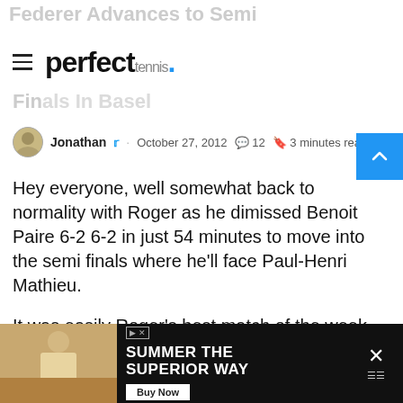Federer Advances to Semi Finals In Basel
[Figure (logo): perfect tennis logo with hamburger menu icon]
Jonathan · October 27, 2012 💬 12 🔖 3 minutes read
Hey everyone, well somewhat back to normality with Roger as he dimissed Benoit Paire 6-2 6-2 in just 54 minutes to move into the semi finals where he'll face Paul-Henri Mathieu.
It was easily Roger's best match of the week, breaking twice in each set and not facing a single break point on his own serve. He served a lot bette and looked way more at ease with his all court game. Paire wasn't the toughest opponent of course
[Figure (photo): Advertisement banner: Summer The Superior Way with Buy Now button, showing a person with drinks]